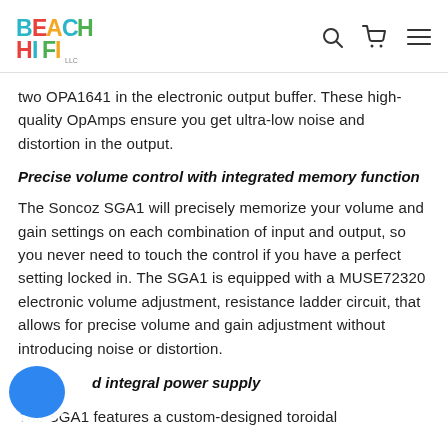BEACH HIFI [logo]
two OPA1641 in the electronic output buffer. These high-quality OpAmps ensure you get ultra-low noise and distortion in the output.
Precise volume control with integrated memory function
The Soncoz SGA1 will precisely memorize your volume and gain settings on each combination of input and output, so you never need to touch the control if you have a perfect setting locked in. The SGA1 is equipped with a MUSE72320 electronic volume adjustment, resistance ladder circuit, that allows for precise volume and gain adjustment without introducing noise or distortion.
... d integral power supply
The SGA1 features a custom-designed toroidal